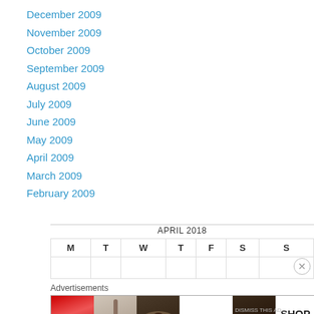December 2009
November 2009
October 2009
September 2009
August 2009
July 2009
June 2009
May 2009
April 2009
March 2009
February 2009
| M | T | W | T | F | S | S |
| --- | --- | --- | --- | --- | --- | --- |
|  |  |  |  |  |  | 1 |
[Figure (other): ULTA beauty advertisement banner showing makeup images and SHOP NOW text]
Advertisements